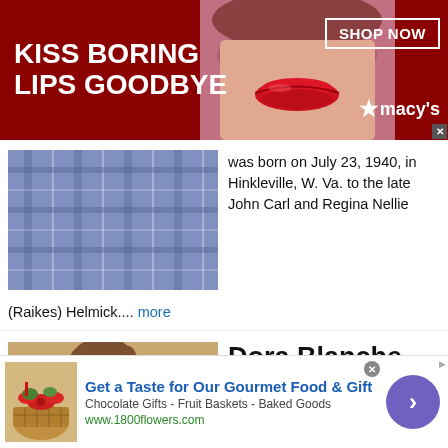[Figure (photo): Macy's advertisement banner: dark red background with bold white text 'KISS BORING LIPS GOODBYE', image of woman's lips, 'SHOP NOW' box, and Macy's star logo]
[Figure (photo): Partial photo of a person in plaid shirt, partially visible]
was born on July 23, 1940, in Hinkleville, W. Va. to the late John Carl and Regina Nellie (Raikes) Helmick.... more
[Figure (photo): Portrait photo of Dora Blanche Neely, an elderly woman with glasses holding a small dog]
Dora Blanche Neely
Posted: 3 months ago
Dora Blanche Neely, age 85, of Rock Cave, the Wilsontown Community, passed from this life on Tuesday, May 10, 2022, at her home peacefully with
[Figure (photo): 1800flowers.com advertisement: gift basket image, 'Get a Taste for Our Gourmet Food & Gift' text, 'Chocolate Gifts - Fruit Baskets - Baked Goods', www.1800flowers.com, purple arrow button]